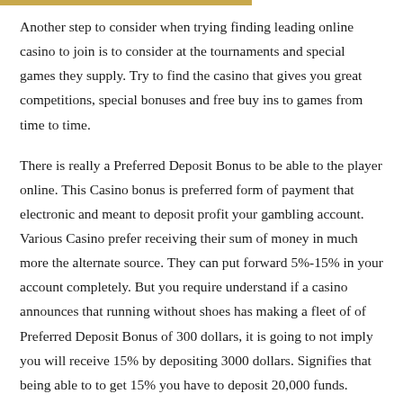Another step to consider when trying finding leading online casino to join is to consider at the tournaments and special games they supply. Try to find the casino that gives you great competitions, special bonuses and free buy ins to games from time to time.
There is really a Preferred Deposit Bonus to be able to the player online. This Casino bonus is preferred form of payment that electronic and meant to deposit profit your gambling account. Various Casino prefer receiving their sum of money in much more the alternate source. They can put forward 5%-15% in your account completely. But you require understand if a casino announces that running without shoes has making a fleet of of Preferred Deposit Bonus of 300 dollars, it is going to not imply you will receive 15% by depositing 3000 dollars. Signifies that being able to to get 15% you have to deposit 20,000 funds.
Onl[chat widget][NEED HELP?]ments to herald new battlers. These tournaments are open to both new and existing competitors. Most of these